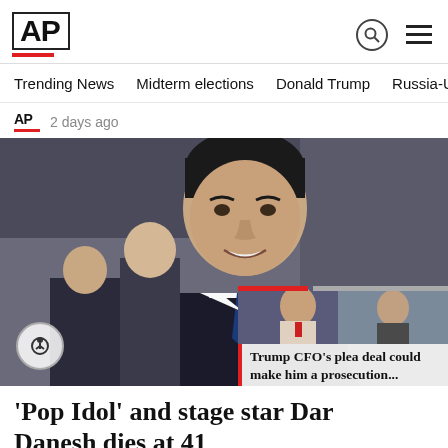AP
Trending News  Midterm elections  Donald Trump  Russia-Ukr
2 days ago
[Figure (photo): Photo of a dark-haired man in a suit and tie smiling, with people in background. Overlay card with thumbnail of Trump-related image and text: Trump CFO's plea deal could make him a prosecution...]
'Pop Idol' and stage star Dari Danesh dies at 41